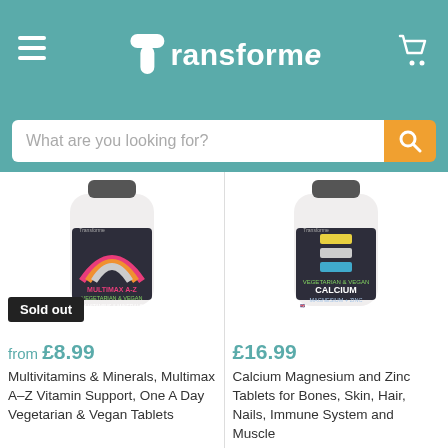Transforme
What are you looking for?
[Figure (photo): Transforme Multimax A-Z Vegetarian & Vegan 24 Vitamins & Minerals supplement bottle with rainbow logo on dark label, with 'Sold out' badge]
from £8.99
Multivitamins & Minerals, Multimax A-Z Vitamin Support, One A Day Vegetarian & Vegan Tablets
[Figure (photo): Transforme Calcium Magnesium + Zinc Vegetarian & Vegan supplement bottle with colourful stacked rectangles logo on dark label]
£16.99
Calcium Magnesium and Zinc Tablets for Bones, Skin, Hair, Nails, Immune System and Muscle